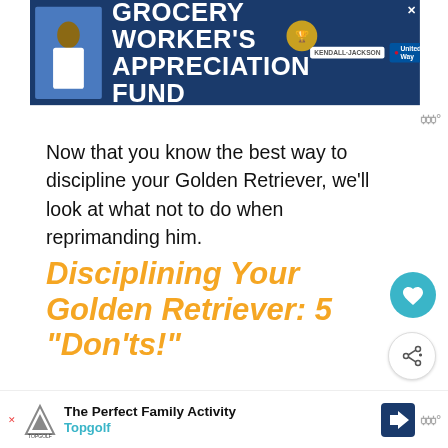[Figure (screenshot): Blue banner advertisement for Grocery Worker's Appreciation Fund featuring Kendall-Jackson and United Way logos]
Now that you know the best way to discipline your Golden Retriever, we'll look at what not to do when reprimanding him.
Disciplining Your Golden Retriever: 5 “Don’ts!”
We’ve already indicated that discipline does not mean punishment. On the contrary, it means reinforcing good behavior and deterring unbefitting behavior by other means, but not punish you
[Figure (screenshot): Bottom advertisement for Topgolf - The Perfect Family Activity]
[Figure (screenshot): What's Next panel showing How to Discipline a...]